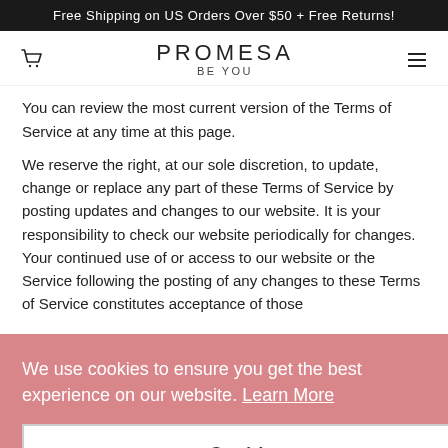Free Shipping on US Orders Over $50 + Free Returns!
[Figure (logo): Promesa Be You logo with cart icon and hamburger menu]
You can review the most current version of the Terms of Service at any time at this page.
We reserve the right, at our sole discretion, to update, change or replace any part of these Terms of Service by posting updates and changes to our website. It is your responsibility to check our website periodically for changes. Your continued use of or access to our website or the Service following the posting of any changes to these Terms of Service constitutes acceptance of those
We use cookies to ensure you get the best experience on our website. Learn More
Got it!